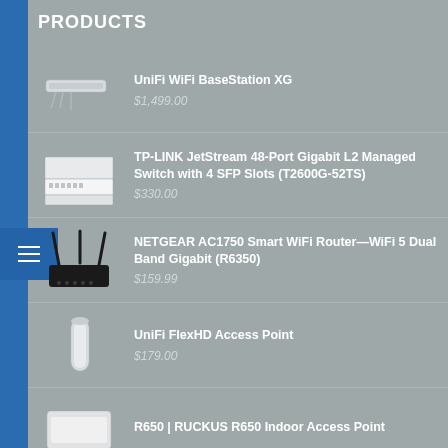PRODUCTS
UniFi WiFi BaseStation XG
$1,499.00
TP-LINK JetStream 48-Port Gigabit L2 Managed Switch with 4 SFP Slots (T2600G-52TS)
$330.00
NETGEAR AC1750 Smart WiFi Router—WiFi 5 Dual Band Gigabit (R6350)
$159.99
UniFi FlexHD Access Point
$179.00
R650 | RUCKUS R650 Indoor Access Point